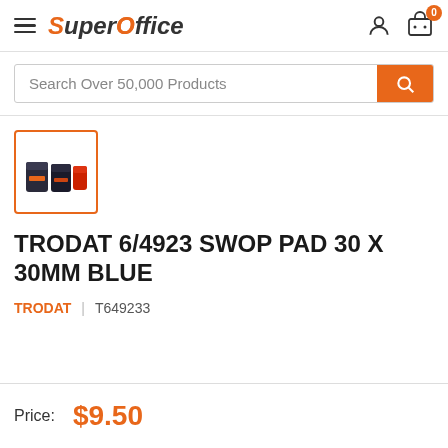SuperOffice
Search Over 50,000 Products
[Figure (photo): Product thumbnail image of Trodat 6/4923 SWOP pad, showing small stamp pads in dark and red colors, inside an orange-bordered box]
TRODAT 6/4923 SWOP PAD 30 X 30MM BLUE
TRODAT | T649233
Price: $9.50